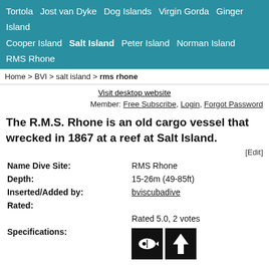Tortola  Jost van Dyke  Dog Islands  Virgin Gorda  Ginger Island  Cooper Island  Salt Island  Peter Island  Norman Island  RMS Rhone
Home > BVI > salt island > rms rhone
Visit desktop website
Member: Free Subscribe, Login, Forgot Password
The R.M.S. Rhone is an old cargo vessel that wrecked in 1867 at a reef at Salt Island.
[Edit]
| Name Dive Site: | RMS Rhone |
| Depth: | 15-26m (49-85ft) |
| Inserted/Added by: | bviscubadive |
| Rated: |  |
|  | Rated 5.0, 2 votes |
| Specifications: | [icons] |
Send us your images for this dive site    [Add Movie][Add Image]